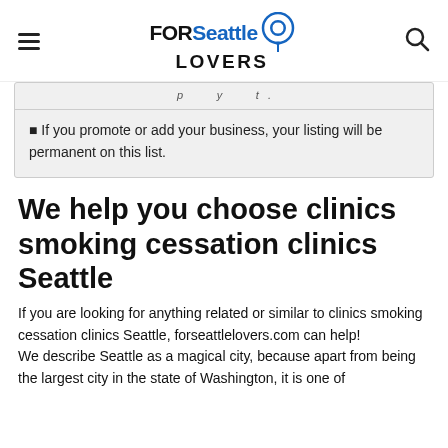FOR Seattle LOVERS
⬛ If you promote or add your business, your listing will be permanent on this list.
We help you choose clinics smoking cessation clinics Seattle
If you are looking for anything related or similar to clinics smoking cessation clinics Seattle, forseattlelovers.com can help!
We describe Seattle as a magical city, because apart from being the largest city in the state of Washington, it is one of the most...